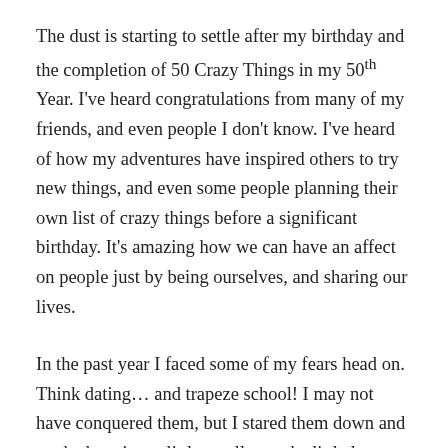The dust is starting to settle after my birthday and the completion of 50 Crazy Things in my 50th Year. I've heard congratulations from many of my friends, and even people I don't know. I've heard of how my adventures have inspired others to try new things, and even some people planning their own list of crazy things before a significant birthday. It's amazing how we can have an affect on people just by being ourselves, and sharing our lives.
In the past year I faced some of my fears head on. Think dating… and trapeze school! I may not have conquered them, but I stared them down and made them just a little smaller, and a little less powerful. Each time I try something that fear monster will keep getting smaller – I definitely confirmed that in the past year.